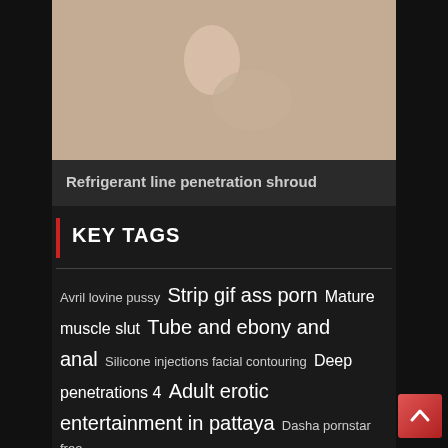[Figure (photo): Adult content image - partially visible, two people]
Refrigerant line penetration shroud
KEY TAGS
Avril lovine pussy Strip gif ass porn Mature muscle slut Tube and ebony and anal Silicone injections facial contouring Deep penetrations 4 Adult erotic entertainment in pattaya Dasha pornstar free